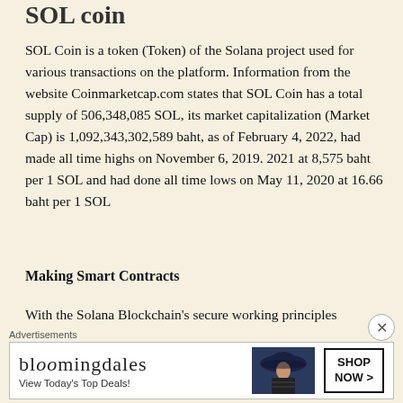SOL coin
SOL Coin is a token (Token) of the Solana project used for various transactions on the platform. Information from the website Coinmarketcap.com states that SOL Coin has a total supply of 506,348,085 SOL, its market capitalization (Market Cap) is 1,092,343,302,589 baht, as of February 4, 2022, had made all time highs on November 6, 2019. 2021 at 8,575 baht per 1 SOL and had done all time lows on May 11, 2020 at 16.66 baht per 1 SOL
Making Smart Contracts
With the Solana Blockchain's secure working principles and base on its Proof of History consensus
[Figure (other): Bloomingdale's advertisement banner with logo, 'View Today's Top Deals!' tagline, a woman with a wide-brim hat, and 'SHOP NOW >' button]